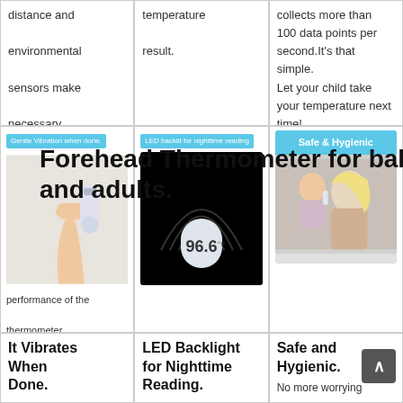distance and environmental sensors make necessary adjustments to get accurate readings.The
temperature result.
collects more than 100 data points per second.It's that simple. Let your child take your temperature next time!
Forehead Thermometer for babies, children and adults.
[Figure (photo): Hand holding a thermometer with blue badge text 'Gentle Vibration when done.' and text below about performance of the thermometer]
[Figure (photo): Thermometer display showing 96.6 on black background with arc/rings, blue badge text 'LED backlit for nighttime reading']
[Figure (photo): Safe and Hygienic panel with blue header 'Safe & Hygienic' and photo of child using thermometer on mother]
performance of the thermometer
It Vibrates When Done.
LED Backlight for Nighttime Reading.
Safe and Hygienic.
No more worrying